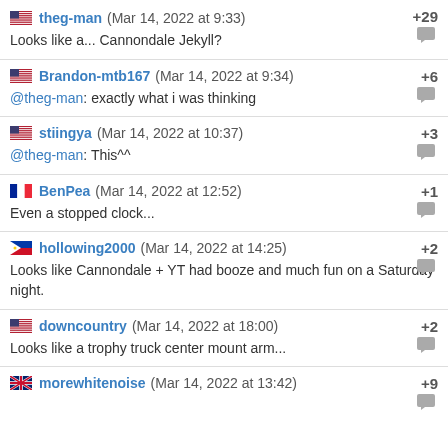theg-man (Mar 14, 2022 at 9:33) +29
Looks like a... Cannondale Jekyll?
Brandon-mtb167 (Mar 14, 2022 at 9:34) +6
@theg-man: exactly what i was thinking
stiingya (Mar 14, 2022 at 10:37) +3
@theg-man: This^^
BenPea (Mar 14, 2022 at 12:52) +1
Even a stopped clock...
hollowing2000 (Mar 14, 2022 at 14:25) +2
Looks like Cannondale + YT had booze and much fun on a Saturday night.
downcountry (Mar 14, 2022 at 18:00) +2
Looks like a trophy truck center mount arm...
morewhitenoise (Mar 14, 2022 at 13:42) +9